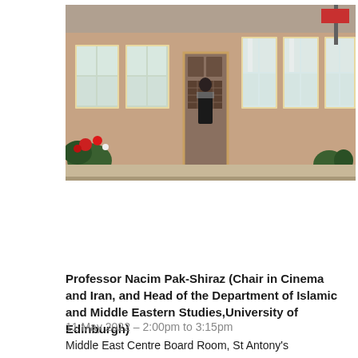[Figure (photo): A photograph of a single-storey building with a pink/salmon-coloured facade, yellow window frames, and a person standing in the doorway. Red flowers are visible in the front garden, and there are plants near the entrance.]
Professor Nacim Pak-Shiraz (Chair in Cinema and Iran, and Head of the Department of Islamic and Middle Eastern Studies,University of Edinburgh)
11 May 2022 – 2:00pm to 3:15pm
Middle East Centre Board Room, St Antony's